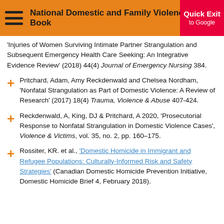National Domestic and Family Violence Bench Book
'Injuries of Women Surviving Intimate Partner Strangulation and Subsequent Emergency Health Care Seeking: An Integrative Evidence Review' (2018) 44(4) Journal of Emergency Nursing 384.
Pritchard, Adam, Amy Reckdenwald and Chelsea Nordham, 'Nonfatal Strangulation as Part of Domestic Violence: A Review of Research' (2017) 18(4) Trauma, Violence & Abuse 407-424.
Reckdenwald, A, King, DJ & Pritchard, A 2020, 'Prosecutorial Response to Nonfatal Strangulation in Domestic Violence Cases', Violence & Victims, vol. 35, no. 2, pp. 160–175.
Rossiter, KR. et al., 'Domestic Homicide in Immigrant and Refugee Populations: Culturally-Informed Risk and Safety Strategies' (Canadian Domestic Homicide Prevention Initiative, Domestic Homicide Brief 4, February 2018).